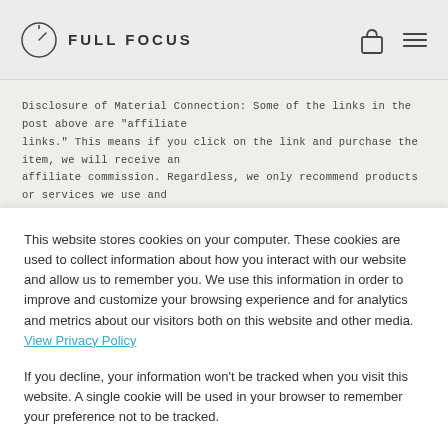FULL FOCUS
Disclosure of Material Connection: Some of the links in the post above are "affiliate links." This means if you click on the link and purchase the item, we will receive an affiliate commission. Regardless, we only recommend products or services we use and believe will add value to our readers. We are disclosing this in accordance with the
This website stores cookies on your computer. These cookies are used to collect information about how you interact with our website and allow us to remember you. We use this information in order to improve and customize your browsing experience and for analytics and metrics about our visitors both on this website and other media. View Privacy Policy

If you decline, your information won't be tracked when you visit this website. A single cookie will be used in your browser to remember your preference not to be tracked.